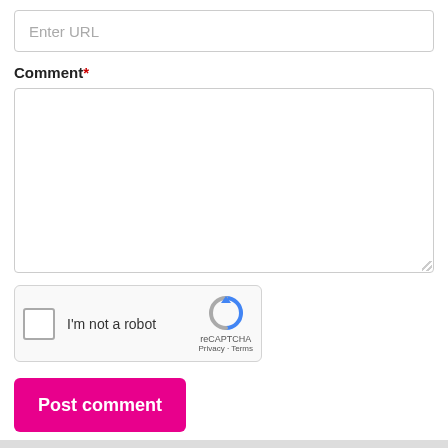Enter URL
Comment*
[Figure (screenshot): reCAPTCHA widget with checkbox labeled I'm not a robot and reCAPTCHA branding with Privacy and Terms links]
Post comment